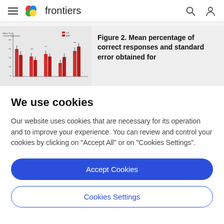frontiers
[Figure (bar-chart): Thumbnail of Figure 2 showing grouped bar chart with red/dark-red bars, error bars, and annotations]
Figure 2. Mean percentage of correct responses and standard error obtained for
We use cookies
Our website uses cookies that are necessary for its operation and to improve your experience. You can review and control your cookies by clicking on "Accept All" or on "Cookies Settings".
Accept Cookies
Cookies Settings